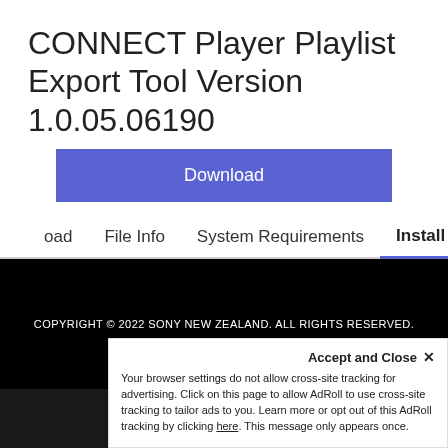CONNECT Player Playlist Export Tool Version 1.0.05.06190
[Figure (screenshot): Blue Download button]
oad   File Info   System Requirements   Install
COPYRIGHT © 2022 SONY NEW ZEALAND. ALL RIGHTS RESERVED.
Accept and Close ×
Your browser settings do not allow cross-site tracking for advertising. Click on this page to allow AdRoll to use cross-site tracking to tailor ads to you. Learn more or opt out of this AdRoll tracking by clicking here. This message only appears once.